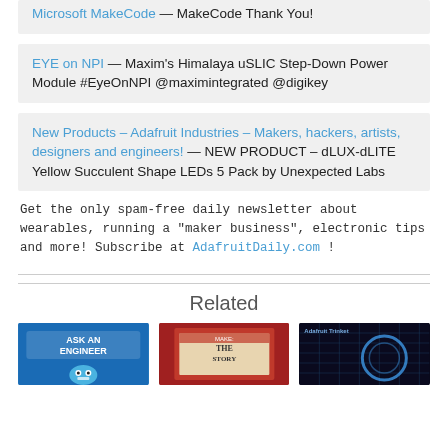Microsoft MakeCode — MakeCode Thank You!
EYE on NPI — Maxim's Himalaya uSLIC Step-Down Power Module #EyeOnNPI @maximintegrated @digikey
New Products – Adafruit Industries – Makers, hackers, artists, designers and engineers! — NEW PRODUCT – dLUX-dLITE Yellow Succulent Shape LEDs 5 Pack by Unexpected Labs
Get the only spam-free daily newsletter about wearables, running a "maker business", electronic tips and more! Subscribe at AdafruitDaily.com !
Related
[Figure (photo): Thumbnail image: Ask an Engineer logo on blue checkered background]
[Figure (photo): Thumbnail image: Red book/magazine cover]
[Figure (photo): Thumbnail image: Adafruit Trinket product on dark background]